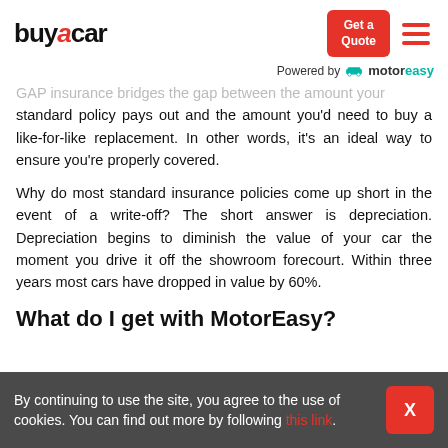buyacar | Get a Quote | Powered by motoreasy
GAP insurance bridges the gap between the amount your standard policy pays out and the amount you'd need to buy a like-for-like replacement. In other words, it's an ideal way to ensure you're properly covered.
Why do most standard insurance policies come up short in the event of a write-off? The short answer is depreciation. Depreciation begins to diminish the value of your car the moment you drive it off the showroom forecourt. Within three years most cars have dropped in value by 60%.
What do I get with MotorEasy?
By continuing to use the site, you agree to the use of cookies. You can find out more by following this link.